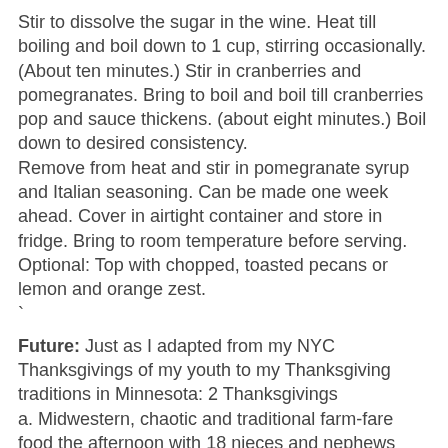Stir to dissolve the sugar in the wine. Heat till boiling and boil down to 1 cup, stirring occasionally. (About ten minutes.) Stir in cranberries and pomegranates. Bring to boil and boil till cranberries pop and sauce thickens. (about eight minutes.) Boil down to desired consistency.
Remove from heat and stir in pomegranate syrup and Italian seasoning. Can be made one week ahead. Cover in airtight container and store in fridge. Bring to room temperature before serving. Optional: Top with chopped, toasted pecans or lemon and orange zest.
`
Future: Just as I adapted from my NYC Thanksgivings of my youth to my Thanksgiving traditions in Minnesota: 2 Thanksgivings
a. Midwestern, chaotic and traditional farm-fare food the afternoon with 18 nieces and nephews followed by
b. a smaller, somewhat Italian one in the evenings ...we adapt again.
`There will be one less person at my dinner table on Thursday who is greatly missed and deeply loved. We will celebrate with turns of merriment and wistfulness. With thanks for all those past Thanksgivings that taught both me